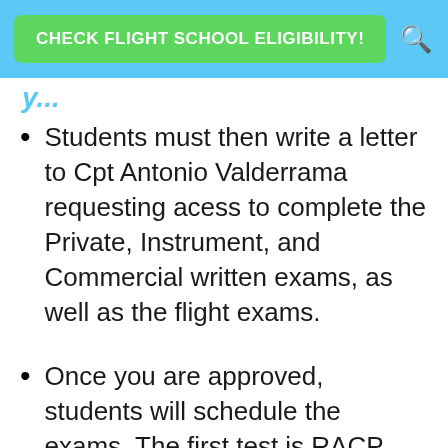CHECK FLIGHT SCHOOL ELIGIBILITY!
Students must then write a letter to Cpt Antonio Valderrama requesting acess to complete the Private, Instrument, and Commercial written exams, as well as the flight exams.
Once you are approved, students will schedule the exams. The first test is RACP, which is open book and involves Panamanian aviation